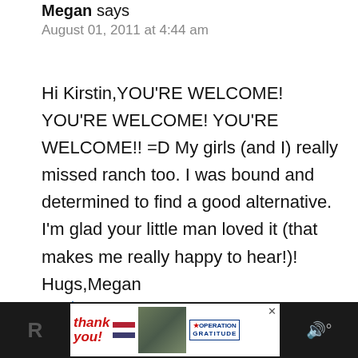Megan says
August 01, 2011 at 4:44 am
Hi Kirstin,YOU'RE WELCOME! YOU'RE WELCOME! YOU'RE WELCOME!! =D My girls (and I) really missed ranch too. I was bound and determined to find a good alternative. I'm glad your little man loved it (that makes me really happy to hear!)! Hugs,Megan
Reply
[Figure (screenshot): Advertisement banner at the bottom showing 'Thank you!' text with American flag motif, military photo, Operation Gratitude logo, and a close button. Speaker icon on the right side.]